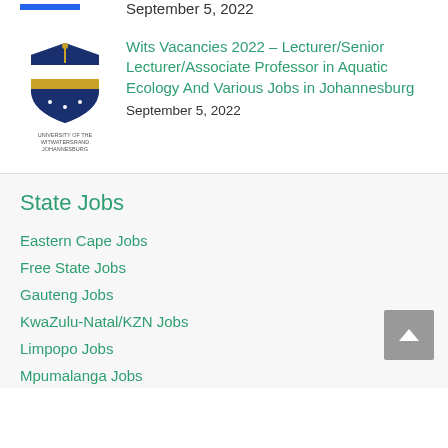September 5, 2022
[Figure (logo): University of the Witwatersrand Johannesburg logo/crest]
Wits Vacancies 2022 – Lecturer/Senior Lecturer/Associate Professor in Aquatic Ecology And Various Jobs in Johannesburg
September 5, 2022
State Jobs
Eastern Cape Jobs
Free State Jobs
Gauteng Jobs
KwaZulu-Natal/KZN Jobs
Limpopo Jobs
Mpumalanga Jobs